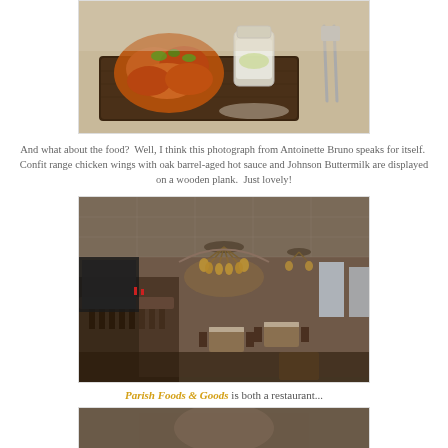[Figure (photo): Food photo: Confit range chicken wings with oak barrel-aged hot sauce and Johnson Buttermilk displayed on a wooden plank, with a glass jar of dipping sauce, on a table setting.]
And what about the food?  Well, I think this photograph from Antoinette Bruno speaks for itself.  Confit range chicken wings with oak barrel-aged hot sauce and Johnson Buttermilk are displayed on a wooden plank.  Just lovely!
[Figure (photo): Interior photo of Parish Foods & Goods restaurant showing a long bar, chandelier lighting, brick walls, tin ceiling, and dining tables.]
Parish Foods & Goods is both a restaurant...
[Figure (photo): Bottom portion of another photo, partially visible.]